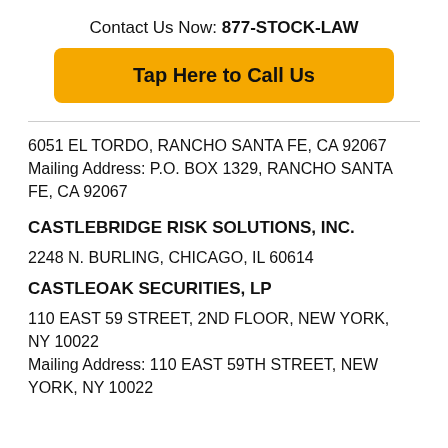Contact Us Now: 877-STOCK-LAW
Tap Here to Call Us
6051 EL TORDO, RANCHO SANTA FE, CA 92067 Mailing Address: P.O. BOX 1329, RANCHO SANTA FE, CA 92067
CASTLEBRIDGE RISK SOLUTIONS, INC.
2248 N. BURLING, CHICAGO, IL 60614
CASTLEOAK SECURITIES, LP
110 EAST 59 STREET, 2ND FLOOR, NEW YORK, NY 10022 Mailing Address: 110 EAST 59TH STREET, NEW YORK, NY 10022